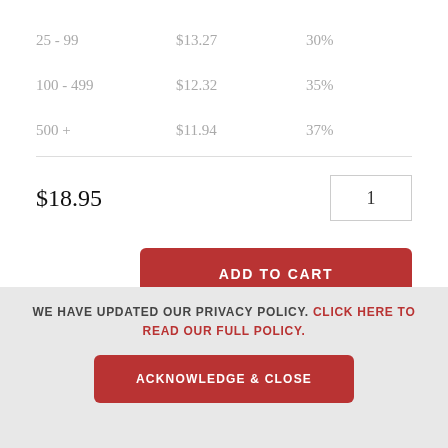| Quantity | Price | Discount |
| --- | --- | --- |
| 25 - 99 | $13.27 | 30% |
| 100 - 499 | $12.32 | 35% |
| 500 + | $11.94 | 37% |
$18.95
1
ADD TO CART
WE HAVE UPDATED OUR PRIVACY POLICY. CLICK HERE TO READ OUR FULL POLICY.
ACKNOWLEDGE & CLOSE